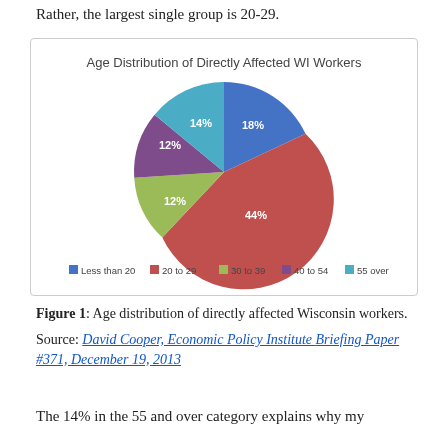Rather, the largest single group is 20-29.
[Figure (pie-chart): Age Distribution of Directly Affected WI Workers]
Figure 1: Age distribution of directly affected Wisconsin workers.
Source: David Cooper, Economic Policy Institute Briefing Paper #371, December 19, 2013
The 14% in the 55 and over category explains why my